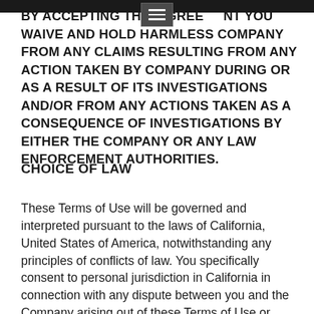BY ACCEPTING THIS AGREEMENT YOU WAIVE AND HOLD HARMLESS COMPANY FROM ANY CLAIMS RESULTING FROM ANY ACTION TAKEN BY COMPANY DURING OR AS A RESULT OF ITS INVESTIGATIONS AND/OR FROM ANY ACTIONS TAKEN AS A CONSEQUENCE OF INVESTIGATIONS BY EITHER THE COMPANY OR ANY LAW ENFORCEMENT AUTHORITIES.
CHOICE OF LAW
These Terms of Use will be governed and interpreted pursuant to the laws of California, United States of America, notwithstanding any principles of conflicts of law. You specifically consent to personal jurisdiction in California in connection with any dispute between you and the Company arising out of these Terms of Use or pertaining to the subject matter hereof. The parties to these Terms of Use each agree that the exclusive venue for any dispute between the parties arising out of these Terms of Use or pertaining to the subject matter of these Terms of Use will be in the state and federal